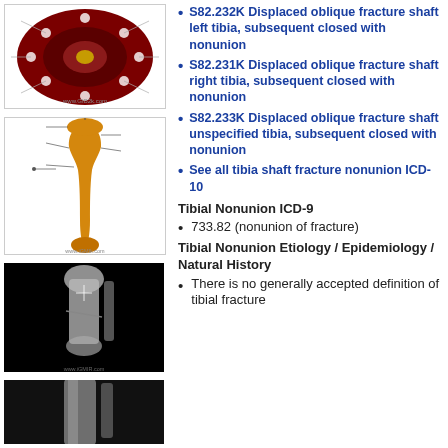[Figure (illustration): Anatomical cross-section diagram of tibia with labeled structures on dark red background]
[Figure (illustration): 3D rendering of tibia bone (orange) with anatomical labels on white background]
[Figure (photo): X-ray image of tibia shaft fracture on black background]
[Figure (photo): X-ray image of lower leg/tibia on dark background (partial view)]
S82.232K Displaced oblique fracture shaft left tibia, subsequent closed with nonunion
S82.231K Displaced oblique fracture shaft right tibia, subsequent closed with nonunion
S82.233K Displaced oblique fracture shaft unspecified tibia, subsequent closed with nonunion
See all tibia shaft fracture nonunion ICD-10
Tibial Nonunion ICD-9
733.82 (nonunion of fracture)
Tibial Nonunion Etiology / Epidemiology / Natural History
There is no generally accepted definition of tibial fracture